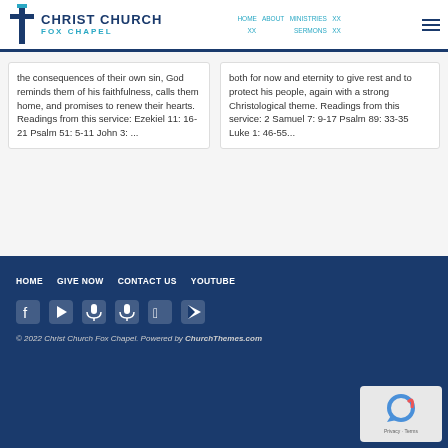Christ Church Fox Chapel
the consequences of their own sin, God reminds them of his faithfulness, calls them home, and promises to renew their hearts. Readings from this service: Ezekiel 11: 16-21 Psalm 51: 5-11 John 3: ...
both for now and eternity to give rest and to protect his people, again with a strong Christological theme. Readings from this service: 2 Samuel 7: 9-17 Psalm 89: 33-35 Luke 1: 46-55...
1  2  >
HOME  GIVE NOW  CONTACT US  YOUTUBE
© 2022 Christ Church Fox Chapel. Powered by ChurchThemes.com